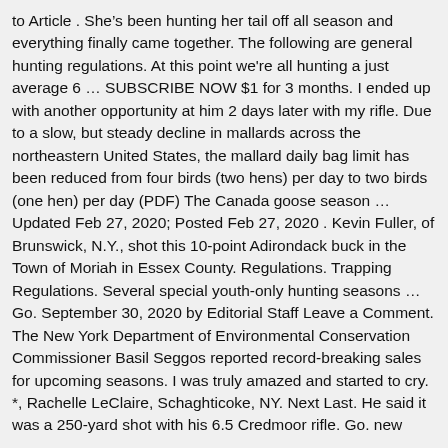to Article . Sheâs been hunting her tail off all season and everything finally came together. The following are general hunting regulations. At this point we're all hunting a just average 6 â¦ SUBSCRIBE NOW $1 for 3 months. I ended up with another opportunity at him 2 days later with my rifle. Due to a slow, but steady decline in mallards across the northeastern United States, the mallard daily bag limit has been reduced from four birds (two hens) per day to two birds (one hen) per day (PDF) The Canada goose season â¦ Updated Feb 27, 2020; Posted Feb 27, 2020 . Kevin Fuller, of Brunswick, N.Y., shot this 10-point Adirondack buck in the Town of Moriah in Essex County. Regulations. Trapping Regulations. Several special youth-only hunting seasons â¦ Go. September 30, 2020 by Editorial Staff Leave a Comment. The New York Department of Environmental Conservation Commissioner Basil Seggos reported record-breaking sales for upcoming seasons. I was truly amazed and started to cry. *, Rachelle LeClaire, Schaghticoke, NY. Next Last. He said it was a 250-yard shot with his 6.5 Credmoor rifle. Go. new